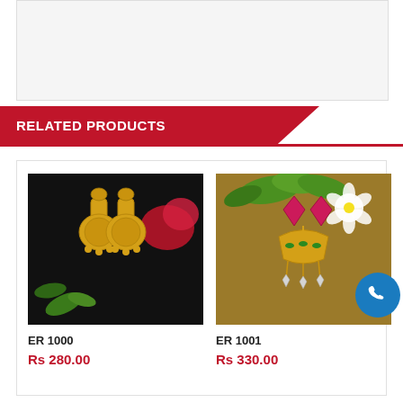[Figure (photo): White/blank product image area at top of page]
RELATED PRODUCTS
[Figure (photo): Gold jhumka earrings on black background with red flower and green leaves]
ER 1000
Rs 280.00
[Figure (photo): Decorative earrings with pink stones on wooden background with green and white flowers]
ER 1001
Rs 330.00